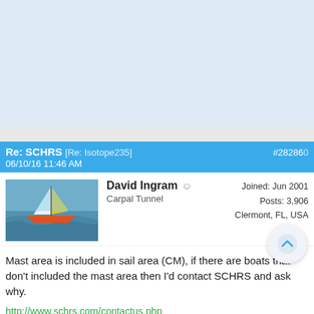[Figure (other): Light blue advertisement banner placeholder area at the top of the page]
Re: SCHRS [Re: Isotope235] #282860
06/10/16 11:46 AM
[Figure (photo): Avatar photo of a catamaran sailboat racing on water]
David Ingram ☺
Carpal Tunnel
Joined: Jun 2001
Posts: 3,906
Clermont, FL, USA
Mast area is included in sail area (CM), if there are boats that don't included the mast area then I'd contact SCHRS and ask why.
http://www.schrs.com/contactus.php
Carlo did the measurement for the FL300; carlo (at) coconutgrovesaile...